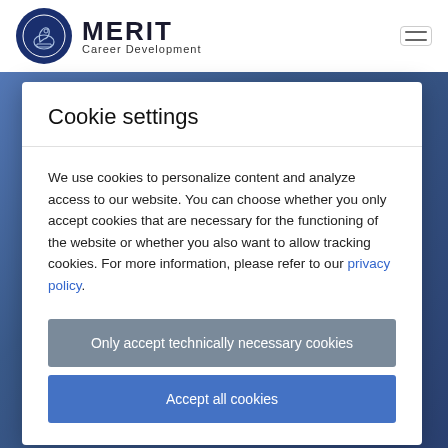[Figure (logo): Merit Career Development logo — circular dark blue emblem with horse chess piece, MERIT text in bold, Career Development subtitle]
Cookie settings
We use cookies to personalize content and analyze access to our website. You can choose whether you only accept cookies that are necessary for the functioning of the website or whether you also want to allow tracking cookies. For more information, please refer to our privacy policy.
Only accept technically necessary cookies
Accept all cookies
Project Management